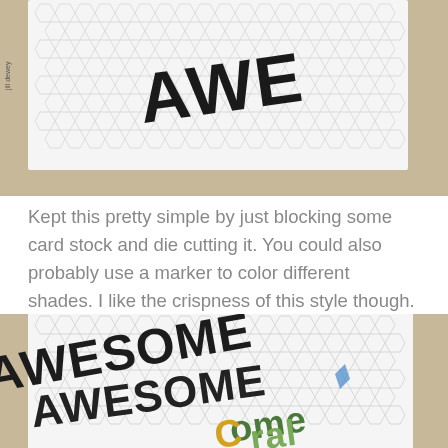[Figure (photo): Close-up photo of a white hexagonal tile pattern card with dark die-cut lettering spelling 'AWE' visible, placed on a brown kraft paper background. A small 'jill dewey' label is visible on the left side.]
Kept this pretty simple by just blocking some card stock and die cutting it. You could also probably use a marker to color different shades. I like the crispness of this style though. 🙂
[Figure (photo): Close-up photo of a white hexagonal tile pattern card with multiple layers of die-cut lettering: black letters spelling 'AWESOME', green letters, and yellow/orange letters partially visible at the bottom right corner.]